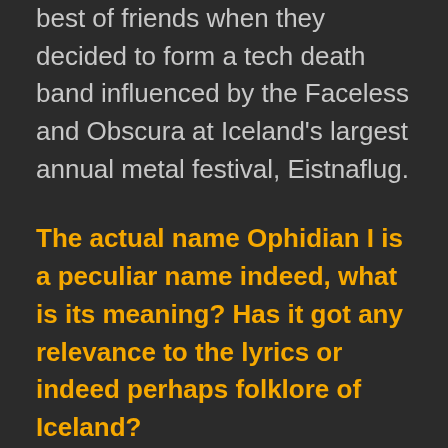best of friends when they decided to form a tech death band influenced by the Faceless and Obscura at Iceland's largest annual metal festival, Eistnaflug.
The actual name Ophidian I is a peculiar name indeed, what is its meaning? Has it got any relevance to the lyrics or indeed perhaps folklore of Iceland?
The name is somewhat of a biblical reference, where the snake is symbolic for the faults and imperfectness of man. It implies that the human race, including oneself is flawed, deceptive and malicious(which coincidentally also happens to